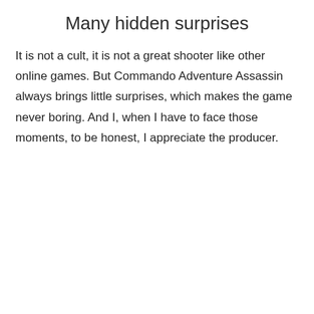Many hidden surprises
It is not a cult, it is not a great shooter like other online games. But Commando Adventure Assassin always brings little surprises, which makes the game never boring. And I, when I have to face those moments, to be honest, I appreciate the producer.